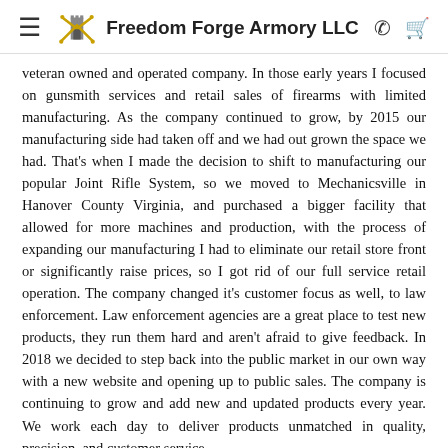Freedom Forge Armory LLC
veteran owned and operated company. In those early years I focused on gunsmith services and retail sales of firearms with limited manufacturing. As the company continued to grow, by 2015 our manufacturing side had taken off and we had out grown the space we had. That's when I made the decision to shift to manufacturing our popular Joint Rifle System, so we moved to Mechanicsville in Hanover County Virginia, and purchased a bigger facility that allowed for more machines and production, with the process of expanding our manufacturing I had to eliminate our retail store front or significantly raise prices, so I got rid of our full service retail operation. The company changed it's customer focus as well, to law enforcement. Law enforcement agencies are a great place to test new products, they run them hard and aren't afraid to give feedback. In 2018 we decided to step back into the public market in our own way with a new website and opening up to public sales. The company is continuing to grow and add new and updated products every year. We work each day to deliver products unmatched in quality, precision, and customer service